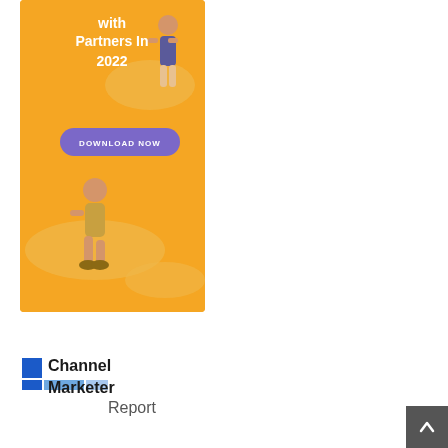[Figure (illustration): Orange advertisement banner with white bold text reading 'with Partners In 2022', a purple 'DOWNLOAD NOW' button, and illustrated figures of people on orange blob shapes]
[Figure (logo): Channel Marketer Report logo with blue square icons and bold black text]